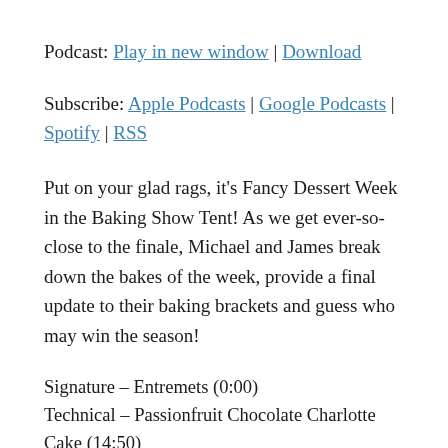Podcast: Play in new window | Download
Subscribe: Apple Podcasts | Google Podcasts | Spotify | RSS
Put on your glad rags, it's Fancy Dessert Week in the Baking Show Tent! As we get ever-so-close to the finale, Michael and James break down the bakes of the week, provide a final update to their baking brackets and guess who may win the season!
Signature – Entremets (0:00)
Technical – Passionfruit Chocolate Charlotte Cake (14:50)